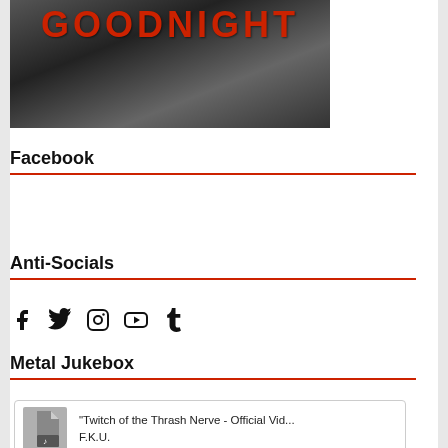[Figure (photo): Black and white photo with red text 'GOODNIGHT' overlaid at the top, showing a dark moody image of a person]
Facebook
Anti-Socials
[Figure (infographic): Social media icons: Facebook, Twitter, Instagram, YouTube, Tumblr]
Metal Jukebox
[Figure (other): Media card with file icon showing quote: "Twitch of the Thrash Nerve - Official Vid..." by F.K.U.]